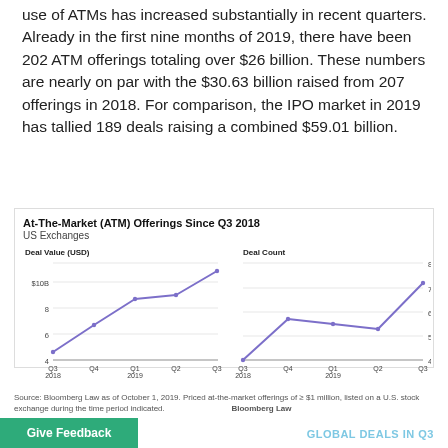use of ATMs has increased substantially in recent quarters. Already in the first nine months of 2019, there have been 202 ATM offerings totaling over $26 billion. These numbers are nearly on par with the $30.63 billion raised from 207 offerings in 2018. For comparison, the IPO market in 2019 has tallied 189 deals raising a combined $59.01 billion.
[Figure (line-chart): At-The-Market (ATM) Offerings Since Q3 2018]
Source: Bloomberg Law as of October 1, 2019. Priced at-the-market offerings of ≥ $1 million, listed on a U.S. stock exchange during the time period indicated. Bloomberg Law